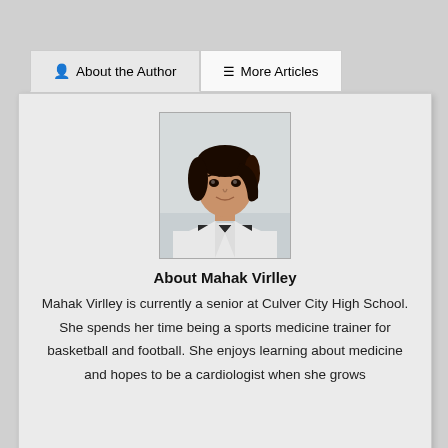About the Author
More Articles
[Figure (photo): Headshot photo of Mahak Virlley, a young woman in a white coat, smiling at the camera against a light background.]
About Mahak Virlley
Mahak Virlley is currently a senior at Culver City High School. She spends her time being a sports medicine trainer for basketball and football. She enjoys learning about medicine and hopes to be a cardiologist when she grows